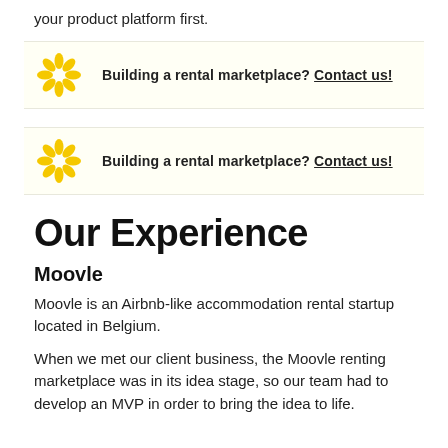your product platform first.
[Figure (logo): Yellow flower/sun logo with text: Building a rental marketplace? Contact us!]
[Figure (logo): Yellow flower/sun logo with text: Building a rental marketplace? Contact us!]
Our Experience
Moovle
Moovle is an Airbnb-like accommodation rental startup located in Belgium.
When we met our client business, the Moovle renting marketplace was in its idea stage, so our team had to develop an MVP in order to bring the idea to life.